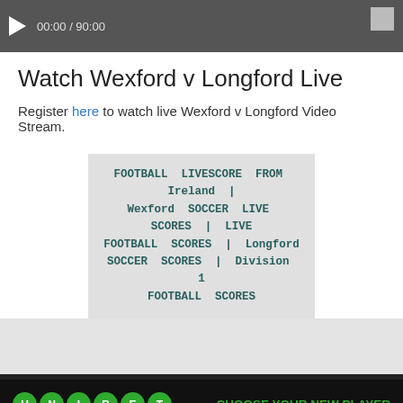[Figure (screenshot): Video player bar showing play button and timestamp 00:00 / 90:00 on a dark gray background]
Watch Wexford v Longford Live
Register here to watch live Wexford v Longford Video Stream.
FOOTBALL LIVESCORE FROM Ireland | Wexford SOCCER LIVE SCORES | LIVE FOOTBALL SCORES | Longford SOCCER SCORES | Division 1 FOOTBALL SCORES
[Figure (logo): Unibet logo with circular letter icons and GET IT NOW text, plus CHOOSE YOUR NEW PLAYER SPECIAL BONUS promotional text in green]